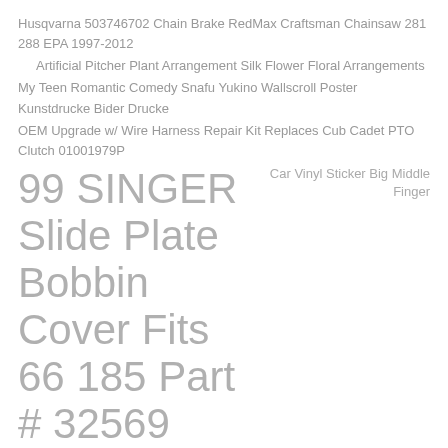Husqvarna 503746702 Chain Brake RedMax Craftsman Chainsaw 281 288 EPA 1997-2012
Artificial Pitcher Plant Arrangement Silk Flower Floral Arrangements
My Teen Romantic Comedy Snafu Yukino Wallscroll Poster Kunstdrucke Bider Drucke
OEM Upgrade w/ Wire Harness Repair Kit Replaces Cub Cadet PTO Clutch 01001979P
99 SINGER Slide Plate Bobbin Cover Fits 66 185 Part # 32569
Car Vinyl Sticker Big Middle Finger
DIY Owl Special Shaped Diamond Painting Leather Bookmark Tassel Book Marks 20, Non-stick fried egg turners nylon cooking turner kitchen utensils bread tong F2. 99 SINGER Slide Plate Bobbin Cover Fits 66 185 Part # 32569.
Carburetor Homelite UT-20680 UT-20680A UT-20703 UT